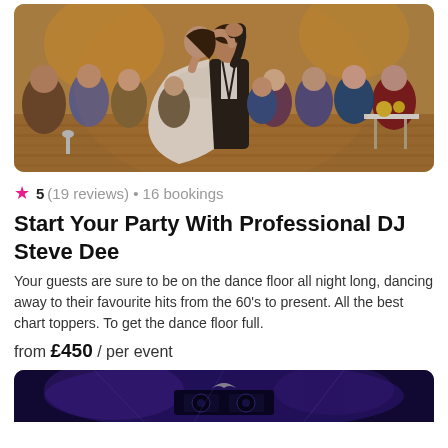[Figure (photo): Bride and groom dancing at wedding reception, surrounded by guests, warm amber lighting, wood floor]
★ 5 (19 reviews) • 16 bookings
Start Your Party With Professional DJ Steve Dee
Your guests are sure to be on the dance floor all night long, dancing away to their favourite hits from the 60's to present. All the best chart toppers. To get the dance floor full.
from £450 / per event
[Figure (photo): DJ setup with purple/blue lighting, partial view at bottom of page]